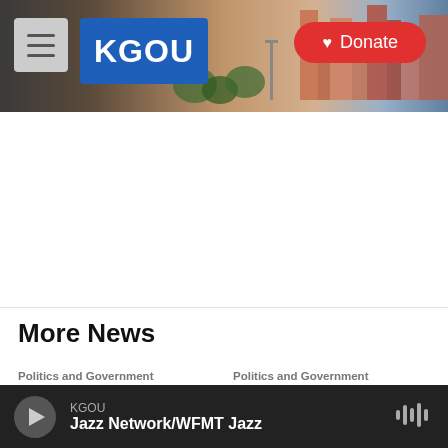KGOU — navigation header with logo and Donate button
[Figure (screenshot): KGOU website header with hamburger menu, KGOU logo on blue background, city skyline photo, and red Donate button]
More News
Politics and Government
By 2035, you won't be able to buy a
Politics and Government
Executions resume in Oklahoma as
KGOU — Jazz Network/WFMT Jazz (player bar)